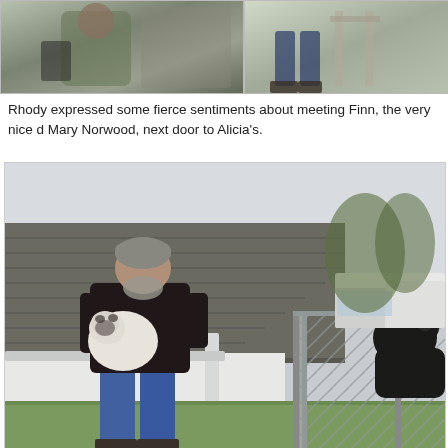[Figure (photo): Top-left photo showing a person in a green jacket with a bag, partially cropped]
[Figure (photo): Top-right photo showing legs and feet near a structure, partially cropped]
Rhody expressed some fierce sentiments about meeting Finn, the very nice d Mary Norwood, next door to Alicia's.
[Figure (photo): Main photo of a man in a black leather jacket holding a small white bulldog, standing next to a chain-link fence with a large black dog on the other side, beside a white house with a gutter, green grass lawn, and parked vehicles in background]